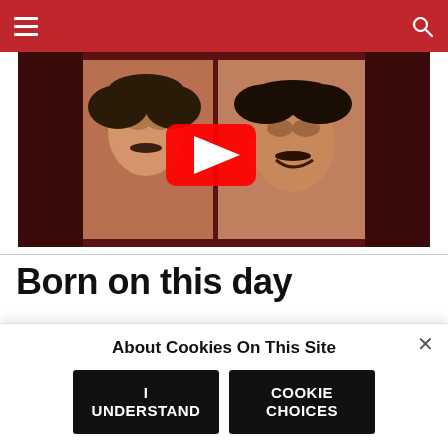Navigation bar with hamburger menu and search icon
[Figure (photo): YouTube video thumbnail showing two members of The Beatles (Ringo Starr and George Harrison) with a YouTube play button overlay on a dark red/brown background]
Born on this day
15 Nov 1988 — Bobby Ray Simmons Jr. known professionally as B.o.B, American rapper, singer, songwriter, record producer. B.o.B rose to fame after his
About Cookies On This Site
I UNDERSTAND
COOKIE CHOICES